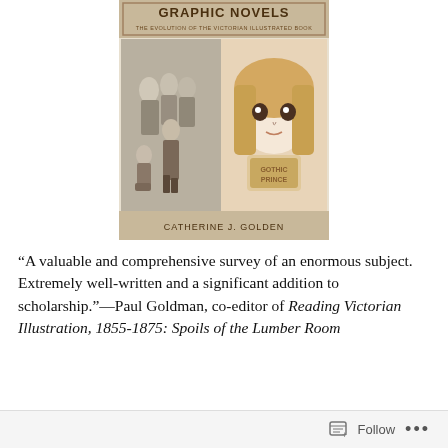[Figure (illustration): Book cover of 'Graphic Novels: The Evolution of the Victorian Illustrated Book' by Catherine J. Golden, showing Victorian illustration on the left and manga-style girl on the right]
“A valuable and comprehensive survey of an enormous subject. Extremely well-written and a significant addition to scholarship.”—Paul Goldman, co-editor of Reading Victorian Illustration, 1855-1875: Spoils of the Lumber Room
Follow ...